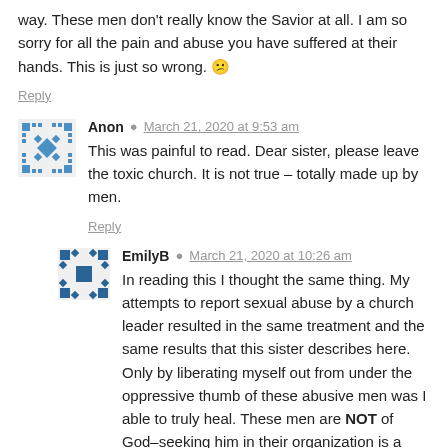way. These men don't really know the Savior at all. I am so sorry for all the pain and abuse you have suffered at their hands. This is just so wrong. 😕
Reply
Anon  March 21, 2020 at 9:53 am
This was painful to read. Dear sister, please leave the toxic church. It is not true – totally made up by men.
Reply
EmilyB  March 21, 2020 at 10:26 am
In reading this I thought the same thing. My attempts to report sexual abuse by a church leader resulted in the same treatment and the same results that this sister describes here. Only by liberating myself out from under the oppressive thumb of these abusive men was I able to truly heal. These men are NOT of God–seeking him in their organization is a fruitless effort.